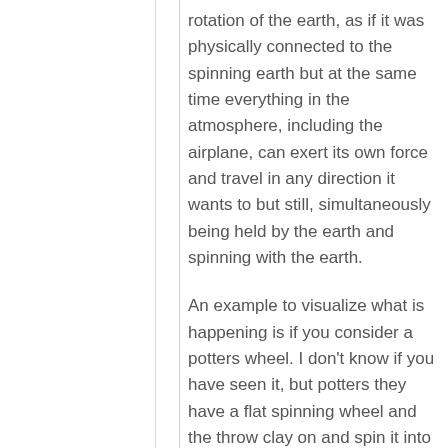rotation of the earth, as if it was physically connected to the spinning earth but at the same time everything in the atmosphere, including the airplane, can exert its own force and travel in any direction it wants to but still, simultaneously being held by the earth and spinning with the earth.
An example to visualize what is happening is if you consider a potters wheel. I don't know if you have seen it, but potters they have a flat spinning wheel and the throw clay on and spin it into vases or something. So that potters wheel is spinning,